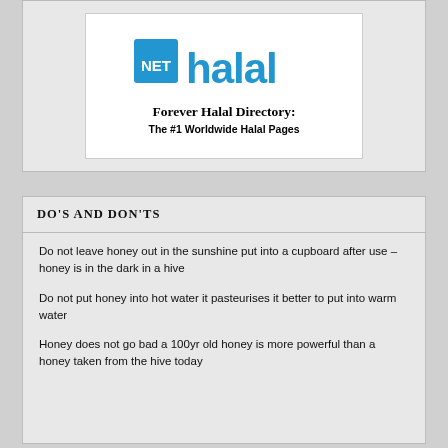[Figure (logo): NET Halal logo with 'Forever Halal Directory: The #1 Worldwide Halal Pages' text]
DO'S AND DON'TS
Do not leave honey out in the sunshine put into a cupboard after use – honey is in the dark in a hive
Do not put honey into hot water it pasteurises it better to put into warm water
Honey does not go bad a 100yr old honey is more powerful than a honey taken from the hive today